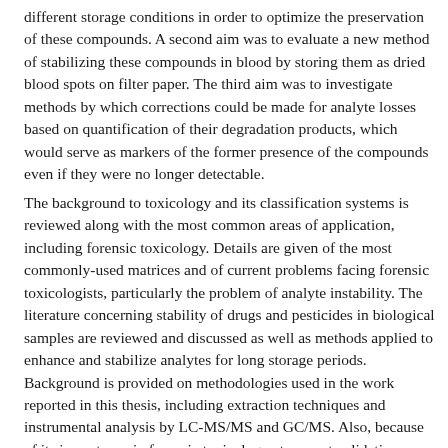different storage conditions in order to optimize the preservation of these compounds. A second aim was to evaluate a new method of stabilizing these compounds in blood by storing them as dried blood spots on filter paper. The third aim was to investigate methods by which corrections could be made for analyte losses based on quantification of their degradation products, which would serve as markers of the former presence of the compounds even if they were no longer detectable.
The background to toxicology and its classification systems is reviewed along with the most common areas of application, including forensic toxicology. Details are given of the most commonly-used matrices and of current problems facing forensic toxicologists, particularly the problem of analyte instability. The literature concerning stability of drugs and pesticides in biological samples are reviewed and discussed as well as methods applied to enhance and stabilize analytes for long storage periods. Background is provided on methodologies used in the work reported in this thesis, including extraction techniques and instrumental analysis by LC-MS/MS and GC/MS. Also, because of its importance in forensic toxicology at present validation procedures and requirements are also discussed.
An initial study was made of drug stability during storage in blood samples f